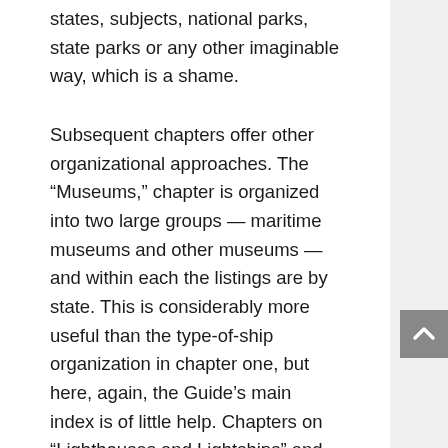states, subjects, national parks, state parks or any other imaginable way, which is a shame.
Subsequent chapters offer other organizational approaches. The “Museums,” chapter is organized into two large groups — maritime museums and other museums — and within each the listings are by state. This is considerably more useful than the type-of-ship organization in chapter one, but here, again, the Guide’s main index is of little help. Chapters on “Lighthouses and Lightships” and “Life Saving Stations,” are listed by region. Also, three maps are added to the lighthouse listings, but they are not well tied to the listings, a problem that suggests another listing methodology might have been employed: a numerical identification for each listing with an alphabetical prefix or suffix for each chapter (e.g., S120 for Ships, listing 120; M31, for